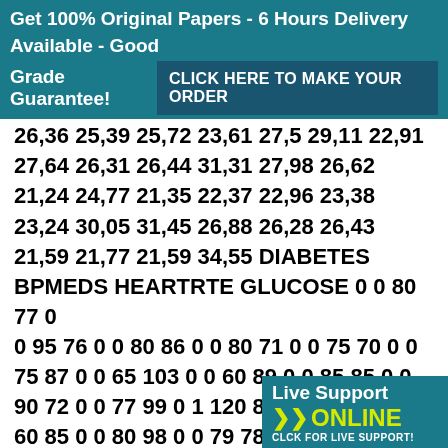Get 100% Original Papers - 6 Hours Delivery Available - Good Grade Guarantee! CLICK HERE TO MAKE YOUR ORDER
26,36 25,39 25,72 23,61 27,5 29,11 22,91 27,64 26,31 26,44 31,31 27,98 26,62 21,24 24,77 21,35 22,37 22,96 23,38 23,24 30,05 31,45 26,88 26,28 26,43 21,59 21,77 21,59 34,55 DIABETES BPMEDS HEARTRTE GLUCOSE 0 0 80 77 0 0 95 76 0 0 80 86 0 0 80 71 0 0 75 70 0 0 75 87 0 0 65 103 0 0 60 89 0 0 85 85 0 0 90 72 0 0 77 99 0 1 120 86 1 1 86 81 0 0 60 85 0 0 80 98 0 0 79 78 0 0 75 87 0 0 76 79 0 0 85 81 0 0 92 82 0 0 93 88 0 1 75 74 0 1 75 85 0 0 75 76 0 0 72 61 0 0 98 64 0 0 105 71 0 1 65 84 0 1 75 74 0 0 68 135 0 0 110 76 0 0 85 97 0 0 64 72 0 0 57 91 0 0 80 89 0 0 75